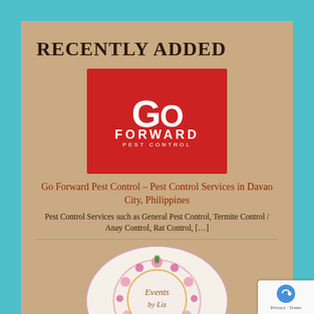RECENTLY ADDED
[Figure (logo): Go Forward Pest Control logo – red background with white 'GO FORWARD PEST CONTROL' text and lightning bolt graphic]
Go Forward Pest Control – Pest Control Services in Davao City, Philippines
Pest Control Services such as General Pest Control, Termite Control / Anay Control, Rat Control, […]
[Figure (logo): Events by Liz logo – circular floral wreath with cursive text 'Events by Liz']
Events by Liz – Event Expert in Davao City, Philippines
Events by Liz has been operating for two years but they already had